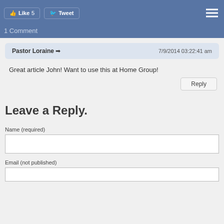Like 5  Tweet
1 Comment
Pastor Loraine → 7/9/2014 03:22:41 am
Great article John! Want to use this at Home Group!
Reply
Leave a Reply.
Name (required)
Email (not published)